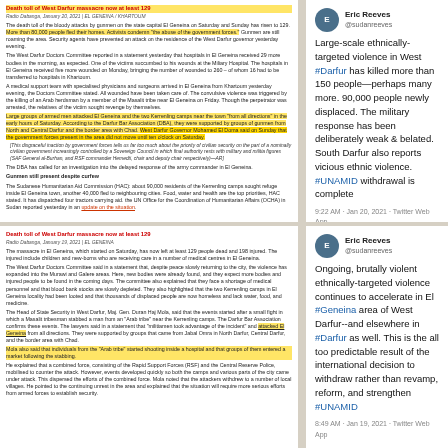Death toll of West Darfur massacre now at least 129 (top article)
Radio Dabanga, January 20, 2021 | EL GENEINA / KHARTOUM. The death toll of the bloody attacks by gunmen on the state capital El Geneina on Saturday and Sunday has risen to 129. More than 80,000 people fled their homes. Activists condemn 'the abuse of the government forces.' Gunmen are still roaming the area. Security agents have prevented an attack on the residence of the West Darfur governor yesterday evening.
The West Darfur Doctors Committee reported in a statement yesterday that hospitals in El Geneina received 29 more bodies in the morning, as expected. One of the victims succumbed to his wounds at the Miliary Hospital. The hospitals in El Geneina received five more wounded on Monday, bringing the number of wounded to 260 - of whom 16 had to be transferred to hospitals in Khartoum.
A medical support team with specialised physicians and surgeons arrived in El Geneina from Khartoum yesterday evening, the Doctors Committee stated. All wounded have been taken care of. The convulsive violence was triggered by the killing of an Arab herdsman by a member of the Masalit tribe near El Geneina on Friday. Though the perpetrator was arrested, the relatives of the victim sought revenge by themselves.
Large groups of armed men attacked El Geneina and the two Kerrenling camps near the town 'from all directions' in the early hours of Saturday. According to the Darfur Bar Association (DBA), they were supported by groups of gunmen from North and Central Darfur and the border area with Chad. West Darfur Governor Mohamed El Doma said on Sunday that the government forces present in the area did not move until ten o'clock on Saturday.
[This disgraceful inaction by government forces tells us far too much about the priority of civilian security on the part of a nominally civilian government increasingly controlled by a Sovereign Council in which final authority rests with military and militia figures (SAF General al-Burhan, and RSF commander Hemedti, chair and deputy chair respectively)—AR]
The DBA has called for an investigation into the delayed response of the army commander in El Geneina.
Gunmen still present despite curfew
The Sudanese Humanitarian Aid Commission (HAC): about 90,000 residents of the Kerrenling camps sought refuge inside El Geneina town, another 40,000 fled to neighbouring cities. Food, water and health are the top priorities, HAC stated. It has dispatched four tractors carrying aid. the UN Office for the Coordination of Humanitarian Affairs (OCHA) in Sudan reported yesterday in an update on the situation.
Eric Reeves @sudanreeves — Large-scale ethnically-targeted violence in West #Darfur has killed more than 150 people—perhaps many more. 90,000 people newly displaced. The military response has been deliberately weak & belated. South Darfur also reports vicious ethnic violence. #UNAMID withdrawal is complete — 9:22 AM · Jan 20, 2021 · Twitter Web App
Death toll of West Darfur massacre now at least 129 (bottom article)
Radio Dabanga, January 19, 2021 | EL GENEINA. The massacre in El Geneina, which started on Saturday, has now left at least 129 people dead and 198 injured. The injured include children and new-borns who are receiving care in a number of medical centres in El Geneina.
The West Darfur Doctors Committee said in a statement that, despite peace slowly returning to the city, the violence has expanded into the Murawi and Galere areas. Here, new bodies were already found, and they expect more bodies and injured people to be found in the coming days. The committee also explained that they face a shortage of medical personnel and that blood bank stocks are slowly depleted. They also highlighted that the two Kerrenling camps in El Geneina locality had been looted and that thousands of displaced people are now homeless and lack water, food, and medicine.
The Head of State Security in West Darfur, Maj. Gen. Duran Haj Mola, said that the events started after a small fight in which a Masalit tribesman stabbed a man from an 'Arab tribe' near the Kerrenling camps. The Darfur Bar Association confirms these events. The lawyers said in a statement that 'militiamen took advantage of the incident' and attacked El Geneina from all directions. They were supported by groups that came from Jabal Omra in North Darfur, Central Darfur, and the border area with Chad.
Mola also said that individuals from the 'Arab tribe' started shooting inside a hospital and that groups of them entered a market following the stabbing.
He explained that a combined force, consisting of the Rapid Support Forces (RSF) and the Central Reserve Police, mobilized to counter the attack. However, events developed quickly so both the camps and various parts of the city came under attack. This dispersed the efforts of the combined force. Mola noted that the attackers withdrew to a number of local villages. He pointed to the continuing unrest in the area and explained that the situation will require more serious efforts from armed forces to establish security.
Eric Reeves @sudanreeves — Ongoing, brutally violent ethnically-targeted violence continues to accelerate in El #Geneina area of West Darfur--and elsewhere in #Darfur as well. This is the all too predictable result of the international decision to withdraw rather than revamp, reform, and strengthen #UNAMID — 8:49 AM · Jan 19, 2021 · Twitter Web App